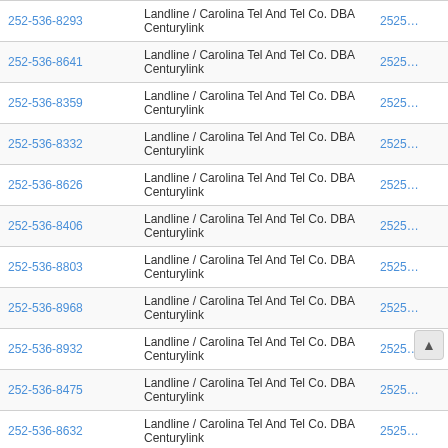| Phone | Carrier | ZIP |
| --- | --- | --- |
| 252-536-8293 | Landline / Carolina Tel And Tel Co. DBA Centurylink | 2525… |
| 252-536-8641 | Landline / Carolina Tel And Tel Co. DBA Centurylink | 2525… |
| 252-536-8359 | Landline / Carolina Tel And Tel Co. DBA Centurylink | 2525… |
| 252-536-8332 | Landline / Carolina Tel And Tel Co. DBA Centurylink | 2525… |
| 252-536-8626 | Landline / Carolina Tel And Tel Co. DBA Centurylink | 2525… |
| 252-536-8406 | Landline / Carolina Tel And Tel Co. DBA Centurylink | 2525… |
| 252-536-8803 | Landline / Carolina Tel And Tel Co. DBA Centurylink | 2525… |
| 252-536-8968 | Landline / Carolina Tel And Tel Co. DBA Centurylink | 2525… |
| 252-536-8932 | Landline / Carolina Tel And Tel Co. DBA Centurylink | 2525… |
| 252-536-8475 | Landline / Carolina Tel And Tel Co. DBA Centurylink | 2525… |
| 252-536-8632 | Landline / Carolina Tel And Tel Co. DBA Centurylink | 2525… |
| 252-536-8553 | Landline / Carolina Tel And Tel Co. DBA Centurylink | 2525… |
| 252-536-8085 | Landline / Carolina Tel And Tel Co. DBA Centurylink | 2525… |
| 252-536-8420 | Landline / Carolina Tel And Tel Co. DBA Centurylink | 2525… |
| 252-536-8550 | Landline / Carolina Tel And Tel Co. DBA Centurylink | ?5… |
| 252-536-8653 | Landline / Carolina Tel And Tel Co. DBA Centurylink | 2525… |
| 252-536-8409 | Landline / Carolina Tel And Tel Co. DBA Centurylink | 2525… |
| 252-536-8414 | Landline / Carolina Tel And Tel Co. DBA Centurylink | 2525… |